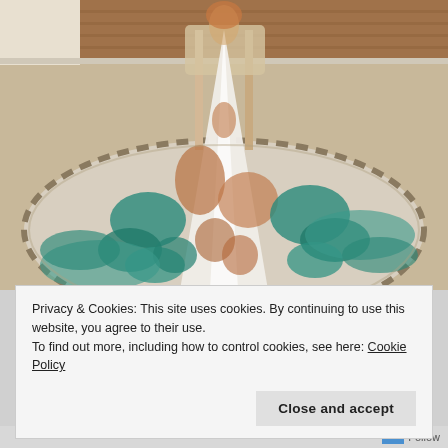[Figure (photo): A decorative figurine or sculpture of a woman in an elaborate white, teal, and copper/bronze gown with a long ornate train spread out on a beige carpet. A wooden chair is visible in the background along with hardwood flooring and an area rug.]
Privacy & Cookies: This site uses cookies. By continuing to use this website, you agree to their use.
To find out more, including how to control cookies, see here: Cookie Policy
Follow